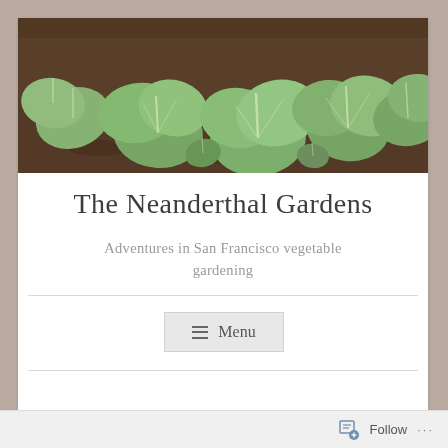[Figure (photo): Close-up photo of green leafy vegetables (bok choy or cabbage seedlings) growing in a garden bed]
The Neanderthal Gardens
Adventures in San Francisco vegetable gardening
≡ Menu
Follow ...